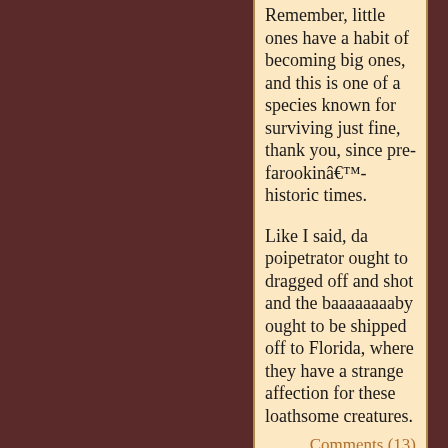Remember, little ones have a habit of becoming big ones, and this is one of a species known for surviving just fine, thank you, since pre-farookinâ€™-historic times.
Like I said, da poipetrator ought to dragged off and shot and the baaaaaaaaby ought to be shipped off to Florida, where they have a strange affection for these loathsome creatures.
Comments (13)